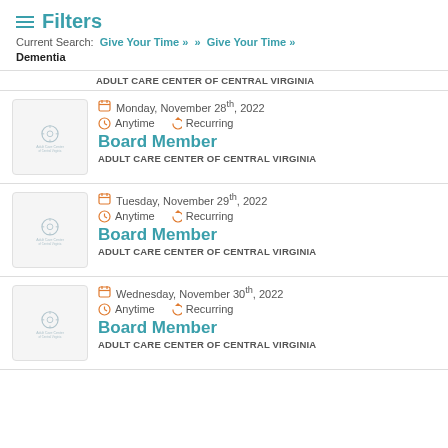Filters
Current Search: Give Your Time » » Give Your Time » Dementia
ADULT CARE CENTER OF CENTRAL VIRGINIA
Monday, November 28th, 2022 | Anytime | Recurring | Board Member | ADULT CARE CENTER OF CENTRAL VIRGINIA
Tuesday, November 29th, 2022 | Anytime | Recurring | Board Member | ADULT CARE CENTER OF CENTRAL VIRGINIA
Wednesday, November 30th, 2022 | Anytime | Recurring | Board Member | ADULT CARE CENTER OF CENTRAL VIRGINIA